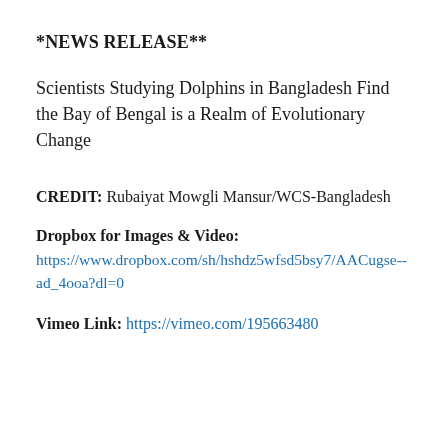*NEWS RELEASE**
Scientists Studying Dolphins in Bangladesh Find the Bay of Bengal is a Realm of Evolutionary Change
CREDIT: Rubaiyat Mowgli Mansur/WCS-Bangladesh
Dropbox for Images & Video:
https://www.dropbox.com/sh/hshdz5wfsd5bsy7/AACugse--ad_4ooa?dl=0
Vimeo Link: https://vimeo.com/195663480